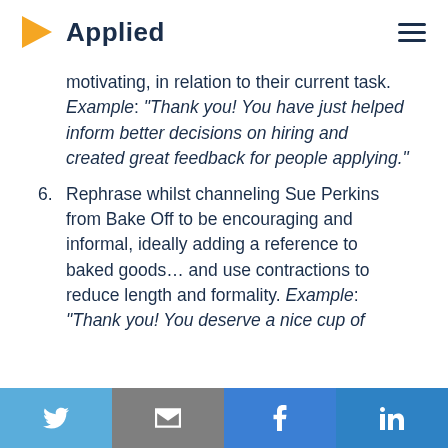Applied
motivating, in relation to their current task. Example: “Thank you! You have just helped inform better decisions on hiring and created great feedback for people applying.”
6. Rephrase whilst channeling Sue Perkins from Bake Off to be encouraging and informal, ideally adding a reference to baked goods… and use contractions to reduce length and formality. Example: “Thank you! You deserve a nice cup of
Twitter | Email | Facebook | LinkedIn